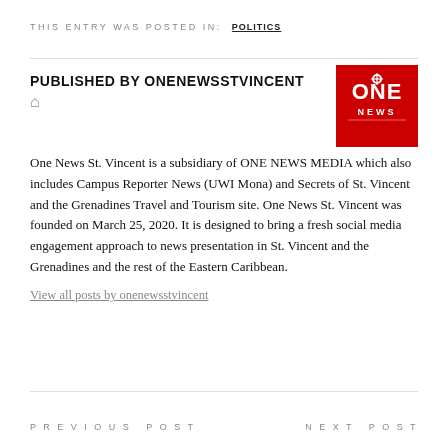THIS ENTRY WAS POSTED IN: POLITICS
PUBLISHED BY ONENEWSSTVINCENT
[Figure (logo): ONE NEWS red square logo with stylized 'ONE NEWS' text in white]
One News St. Vincent is a subsidiary of ONE NEWS MEDIA which also includes Campus Reporter News (UWI Mona) and Secrets of St. Vincent and the Grenadines Travel and Tourism site. One News St. Vincent was founded on March 25, 2020. It is designed to bring a fresh social media engagement approach to news presentation in St. Vincent and the Grenadines and the rest of the Eastern Caribbean.
View all posts by onenewsstvincent
PREVIOUS POST    NEXT POST